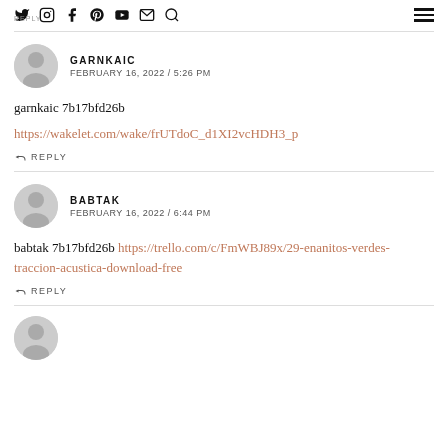Social media icons navigation bar with hamburger menu
REPLY
GARNKAIC
FEBRUARY 16, 2022 / 5:26 PM
garnkaic 7b17bfd26b
https://wakelet.com/wake/frUTdoC_d1XI2vcHDH3_p
REPLY
BABTAK
FEBRUARY 16, 2022 / 6:44 PM
babtak 7b17bfd26b https://trello.com/c/FmWBJ89x/29-enanitos-verdes-traccion-acustica-download-free
REPLY